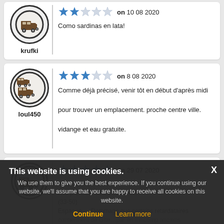[Figure (screenshot): Review card 1 (partial top): user avatar icon (motorhome), username 'krufki', 2-star rating, date '10 08 2020', review text 'Como sardinas en lata!']
[Figure (screenshot): Review card 2: user avatar icon (multiple motorhomes), username 'loul450', 3-star rating, date '8 08 2020', review text 'Comme déjà précisé, venir tôt en début d'après midi pour trouver un emplacement. proche centre ville. vidange et eau gratuite.']
[Figure (screenshot): Review card 3 (partial bottom): user avatar icon (motorhome), 5-star rating, date '29 07 2020', partial review text visible behind cookie overlay]
This website is using cookies. We use them to give you the best experience. If you continue using our website, we'll assume that you are happy to receive all cookies on this website.
Continue  Learn more